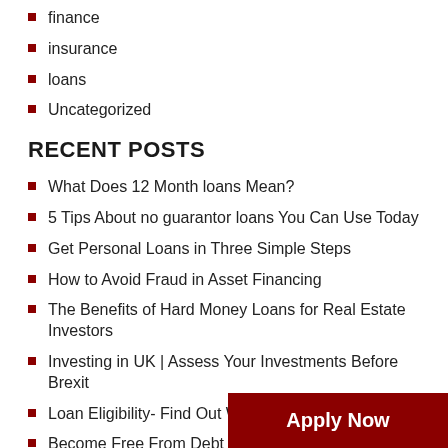finance
insurance
loans
Uncategorized
RECENT POSTS
What Does 12 Month loans Mean?
5 Tips About no guarantor loans You Can Use Today
Get Personal Loans in Three Simple Steps
How to Avoid Fraud in Asset Financing
The Benefits of Hard Money Loans for Real Estate Investors
Investing in UK | Assess Your Investments Before Brexit
Loan Eligibility- Find Out Whether You Qualify
Become Free From Debt with A Debt Management Plan
Doorstep Loans For Bad Credit
Retirement Planning- Financial Goa…
Why Guarantor Loans Might Be a Better Choice